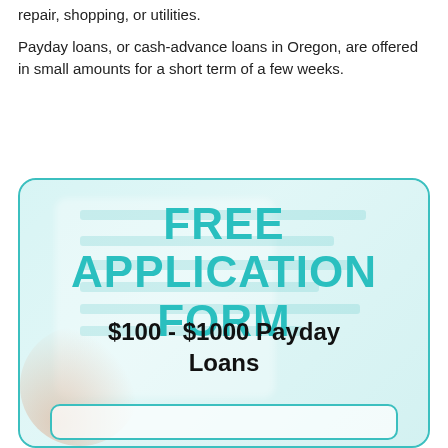repair, shopping, or utilities.
Payday loans, or cash-advance loans in Oregon, are offered in small amounts for a short term of a few weeks.
[Figure (infographic): Promotional box with teal border on light teal background featuring blurred clipboard/form background image, large teal bold text reading 'FREE APPLICATION FORM', black bold text reading '$100 - $1000 Payday Loans', and a partial button outline at the bottom.]